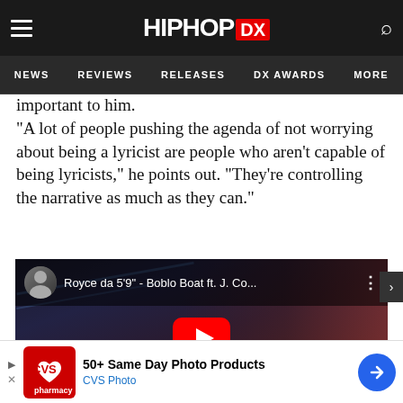HipHopDX - NEWS | REVIEWS | RELEASES | DX AWARDS | MORE
important to him.
“A lot of people pushing the agenda of not worrying about being a lyricist are people who aren’t capable of being lyricists,” he points out. “They’re controlling the narrative as much as they can.”
[Figure (screenshot): YouTube video embed showing Royce da 5'9" - Boblo Boat ft. J. Co... with a red play button overlay and artist thumbnail avatar. Dark background with person silhouette.]
[Figure (screenshot): CVS Pharmacy advertisement banner: '50+ Same Day Photo Products CVS Photo' with CVS pharmacy logo and navigation arrow icon.]